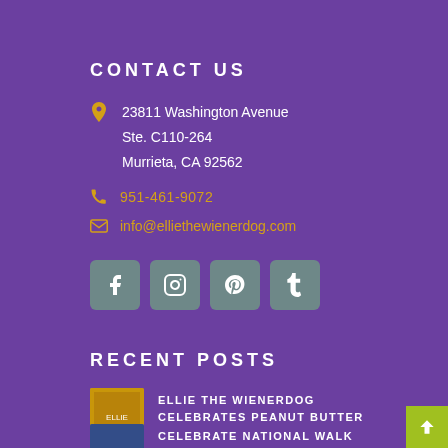CONTACT US
23811 Washington Avenue
Ste. C110-264
Murrieta, CA 92562
951-461-9072
info@elliethewienerdog.com
[Figure (infographic): Social media icon buttons for Facebook, Instagram, Pinterest, and Tumblr on muted teal/grey rounded square backgrounds]
RECENT POSTS
[Figure (photo): Book cover thumbnail for Ellie the Wienerdog Celebrates Peanut Butter]
ELLIE THE WIENERDOG CELEBRATES PEANUT BUTTER
[Figure (photo): Book cover thumbnail for Celebrate National Walk post]
CELEBRATE NATIONAL WALK